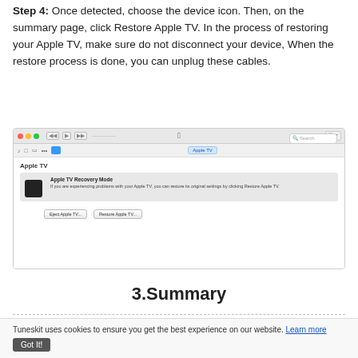Step 4: Once detected, choose the device icon. Then, on the summary page, click Restore Apple TV. In the process of restoring your Apple TV, make sure do not disconnect your device, When the restore process is done, you can unplug these cables.
[Figure (screenshot): macOS iTunes/Finder window showing Apple TV in Recovery Mode with Eject Apple TV and Restore Apple TV buttons]
3.Summary
Tuneskit uses cookies to ensure you get the best experience on our website. Learn more Got It!